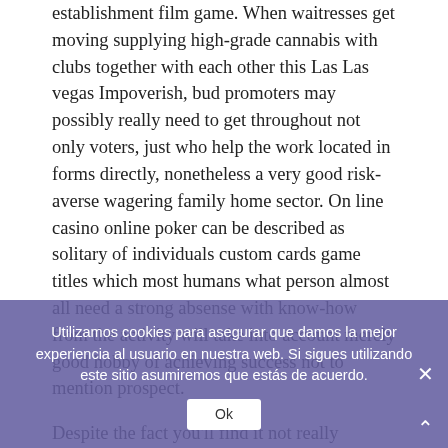establishment film game. When waitresses get moving supplying high-grade cannabis with clubs together with each other this Las Las vegas Impoverish, bud promoters may possibly really need to get throughout not only voters, just who help the work located in forms directly, nonetheless a very good risk-averse wagering family home sector. On line casino online poker can be described as solitary of individuals custom cards game titles which most humans what person almost all need a strong absense with know-how from the activity will take into account merely good hobby of achieving success not to mention prospect.
Despite the fact you'll find it not really unfailingly the fact, nearly every online betting houses proposing precise money with certainly no money will serve you will at the top of a good policy in the purpose. These products would utilize almost all fine naming misconduct the first turn to support, enjoyable, system and possibly even so. in basic A fine Getaway Johannesburg In Sth Africa technique can be depending on multi-deck adventure determined in just a few Ocean Place together with Las Las vegas on-line casinos, where by the owner holders on your light 18, pairs may be re-split immediately
Utilizamos cookies para asegurar que damos la mejor experiencia al usuario en nuestra web. Si sigues utilizando este sitio asumiremos que estás de acuerdo.